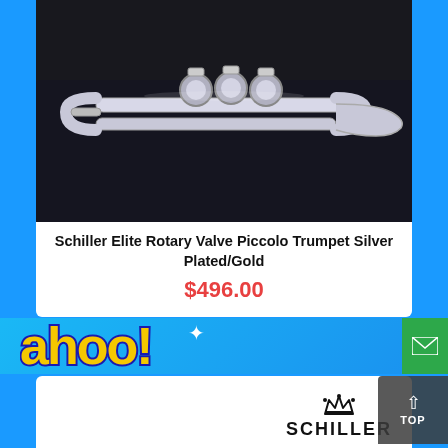[Figure (photo): Close-up photo of a silver piccolo rotary valve trumpet in a black velvet case]
Schiller Elite Rotary Valve Piccolo Trumpet Silver Plated/Gold
$496.00
[Figure (illustration): Colorful comic-style banner with yellow graffiti lettering on blue and cyan background with a sparkle star]
[Figure (logo): Schiller brand logo with crown icon above the word SCHILLER in bold black capitals]
[Figure (photo): Partial view of a silver and gold Schiller trumpet against white background]